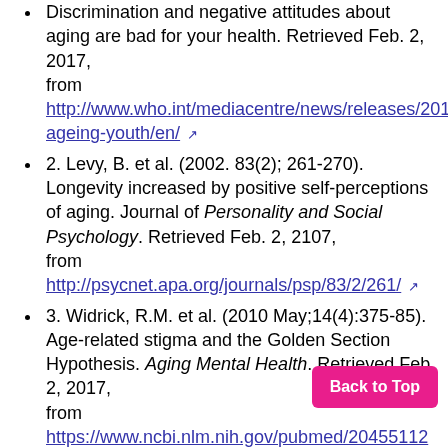Discrimination and negative attitudes about aging are bad for your health. Retrieved Feb. 2, 2017, from http://www.who.int/mediacentre/news/releases/201 ageing-youth/en/ [external link]
2. Levy, B. et al. (2002. 83(2); 261-270). Longevity increased by positive self-perceptions of aging. Journal of Personality and Social Psychology. Retrieved Feb. 2, 2107, from http://psycnet.apa.org/journals/psp/83/2/261/ [external link]
3. Widrick, R.M. et al. (2010 May;14(4):375-85). Age-related stigma and the Golden Section Hypothesis. Aging Mental Health. Retrieved Feb. 2, 2017, from https://www.ncbi.nlm.nih.gov/pubmed/20455112 [external link]
4. Bryant, C. et al. (2012, May 30). International Psychogeriatrics. The relationship between attitudes to aging and physical and mental health outcomes in older adults. Retrieved Feb. 2, 2017,